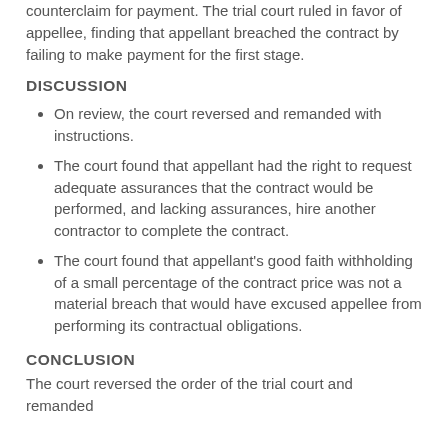counterclaim for payment. The trial court ruled in favor of appellee, finding that appellant breached the contract by failing to make payment for the first stage.
DISCUSSION
On review, the court reversed and remanded with instructions.
The court found that appellant had the right to request adequate assurances that the contract would be performed, and lacking assurances, hire another contractor to complete the contract.
The court found that appellant's good faith withholding of a small percentage of the contract price was not a material breach that would have excused appellee from performing its contractual obligations.
CONCLUSION
The court reversed the order of the trial court and remanded